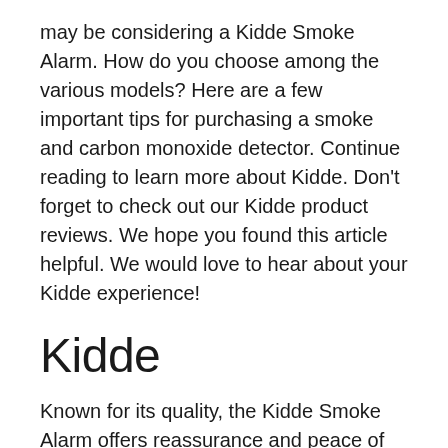may be considering a Kidde Smoke Alarm. How do you choose among the various models? Here are a few important tips for purchasing a smoke and carbon monoxide detector. Continue reading to learn more about Kidde. Don't forget to check out our Kidde product reviews. We hope you found this article helpful. We would love to hear about your Kidde experience!
Kidde
Known for its quality, the Kidde Smoke Alarm offers reassurance and peace of mind. The i12040 Hardwire Smoke Alarm with Battery Backup features interconnectivity with 24 devices and easy installation. The alarm's